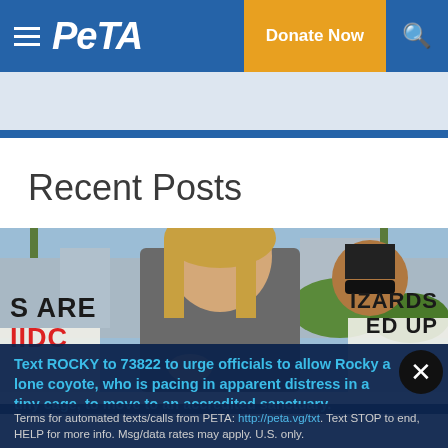PETA — Donate Now
Recent Posts
[Figure (photo): A woman with blonde hair at a protest/demonstration, holding something out toward the camera. Behind her is another person wearing sunglasses. Protest signs visible in foreground and background, including partial text 'S ARE', 'LIZARDS', 'ED UP'.]
Text ROCKY to 73822 to urge officials to allow Rocky a lone coyote, who is pacing in apparent distress in a tiny cage, to move to an accredited sanctuary.
Terms for automated texts/calls from PETA: http://peta.vg/txt. Text STOP to end, HELP for more info. Msg/data rates may apply. U.S. only.